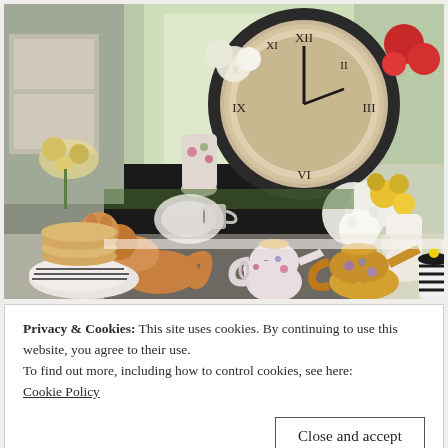[Figure (photo): A cluttered, cozy tea party table scene with floral chintz teapots, teacups, a large antique clock in the background, white hydrangeas and colorful flowers, a ceramic cat figurine, stacked cookies on striped plates, and various vintage porcelain pieces.]
Privacy & Cookies: This site uses cookies. By continuing to use this website, you agree to their use.
To find out more, including how to control cookies, see here:
Cookie Policy
Close and accept